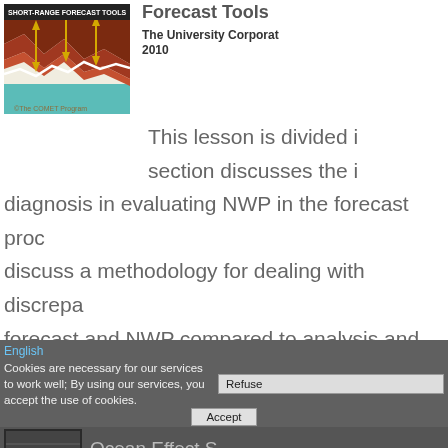[Figure (illustration): Diagram showing cross-section of terrain with red/brown layers and yellow double-headed arrows indicating vertical distances, white wavy line, teal water area at bottom. Text reading 'SHORT-RANGE FORECAST TOOLS' at top. Copyright The COMET Program.]
Forecast Tools
The University Corporation 2010
This lesson is divided i
section discusses the i
diagnosis in evaluating NWP in the forecast proc
discuss a methodology for dealing with discrepa
forecast and NWP compared to analysis and dia
shows a representative example of the methodo
English
Cookies are necessary for our services to work well; By using our services, you accept the use of cookies.
Accept
[Figure (screenshot): Small thumbnail image at bottom left]
Ocean Effect S